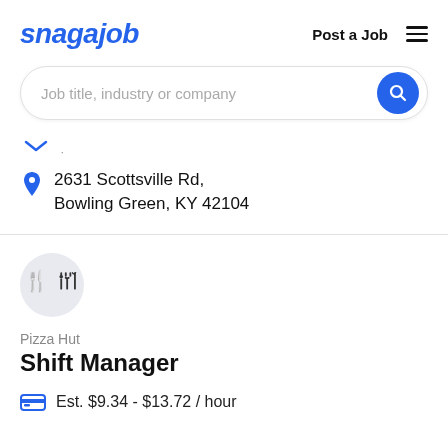snagajob  Post a Job
Job title, industry or company
2631 Scottsville Rd, Bowling Green, KY 42104
Pizza Hut
Shift Manager
Est. $9.34 - $13.72 / hour